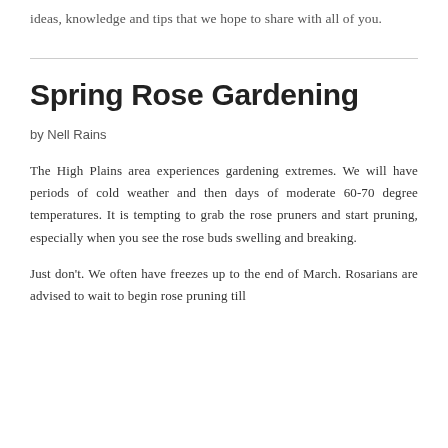ideas, knowledge and tips that we hope to share with all of you.
Spring Rose Gardening
by Nell Rains
The High Plains area experiences gardening extremes. We will have periods of cold weather and then days of moderate 60-70 degree temperatures. It is tempting to grab the rose pruners and start pruning, especially when you see the rose buds swelling and breaking.
Just don't. We often have freezes up to the end of March. Rosarians are advised to wait to begin rose pruning till